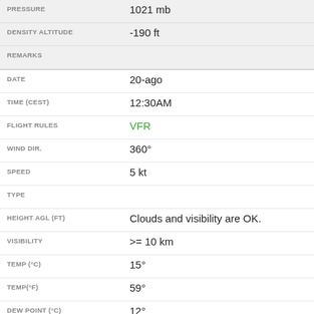| Field | Value |
| --- | --- |
| PRESSURE | 1021 mb |
| DENSITY ALTITUDE | -190 ft |
| REMARKS |  |
| DATE | 20-ago |
| TIME (CEST) | 12:30AM |
| FLIGHT RULES | VFR |
| WIND DIR. | 360° |
| SPEED | 5 kt |
| TYPE |  |
| HEIGHT AGL (FT) | Clouds and visibility are OK. |
| VISIBILITY | >= 10 km |
| TEMP (°C) | 15° |
| TEMP(°F) | 59° |
| DEW POINT (°C) | 12° |
| DEW POINT(°F) | 53° |
| REL. HUMID. | 82% |
| PRESSURE | 1021 mb |
| DENSITY ALTITUDE | -70 ft |
| REMARKS |  |
| DATE | 20-ago |
| TIME (CEST) | 12:00AM |